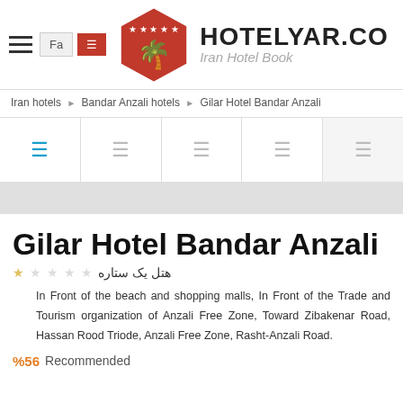Fa | [icon] HOTELYAR.COM Iran Hotel Booking
Iran hotels > Bandar Anzali hotels > Gilar Hotel Bandar Anzali
[Figure (screenshot): Tab bar with 5 icon tabs: first tab active in blue, remaining in gray]
Gilar Hotel Bandar Anzali
هتل یک ستاره
In Front of the beach and shopping malls, In Front of the Trade and Tourism organization of Anzali Free Zone, Toward Zibakenar Road, Hassan Rood Triode, Anzali Free Zone, Rasht-Anzali Road.
%56 Recommended